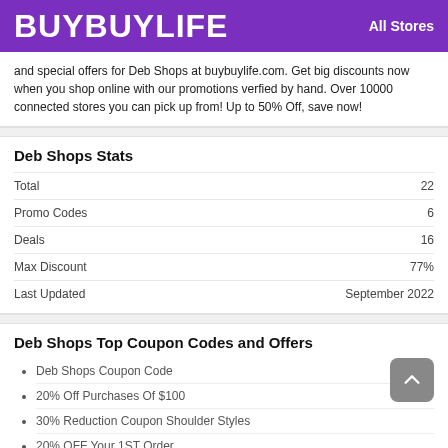BUYBUYLIFE   All Stores
and special offers for Deb Shops at buybuylife.com. Get big discounts now when you shop online with our promotions verfied by hand. Over 10000 connected stores you can pick up from! Up to 50% Off, save now!
Deb Shops Stats
|  |  |
| --- | --- |
| Total | 22 |
| Promo Codes | 6 |
| Deals | 16 |
| Max Discount | 77% |
| Last Updated | September 2022 |
Deb Shops Top Coupon Codes and Offers
Deb Shops Coupon Code
20% Off Purchases Of $100
30% Reduction Coupon Shoulder Styles
20% OFF Your 1ST Order
We've Got A Coupon For You, Code At Checkout